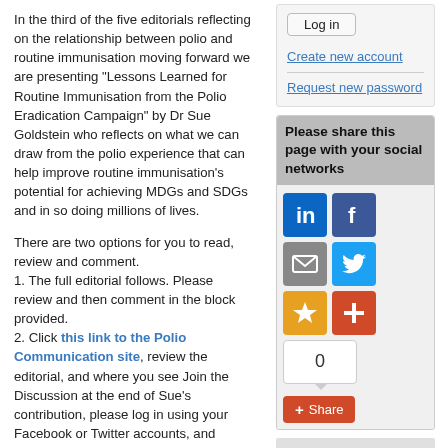In the third of the five editorials reflecting on the relationship between polio and routine immunisation moving forward we are presenting "Lessons Learned for Routine Immunisation from the Polio Eradication Campaign" by Dr Sue Goldstein who reflects on what we can draw from the polio experience that can help improve routine immunisation's potential for achieving MDGs and SDGs and in so doing millions of lives.
There are two options for you to read, review and comment.
1. The full editorial follows. Please review and then comment in the block provided.
2. Click this link to the Polio Communication site, review the editorial, and where you see Join the Discussion at the end of Sue's contribution, please log in using your Facebook or Twitter accounts, and comment.
Log in
Create new account
Request new password
Please share this page with your social networks
0
Share